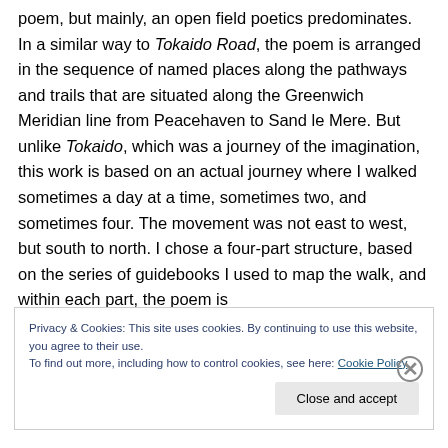poem, but mainly, an open field poetics predominates. In a similar way to Tokaido Road, the poem is arranged in the sequence of named places along the pathways and trails that are situated along the Greenwich Meridian line from Peacehaven to Sand le Mere. But unlike Tokaido, which was a journey of the imagination, this work is based on an actual journey where I walked sometimes a day at a time, sometimes two, and sometimes four. The movement was not east to west, but south to north. I chose a four-part structure, based on the series of guidebooks I used to map the walk, and within each part, the poem is
Privacy & Cookies: This site uses cookies. By continuing to use this website, you agree to their use.
To find out more, including how to control cookies, see here: Cookie Policy